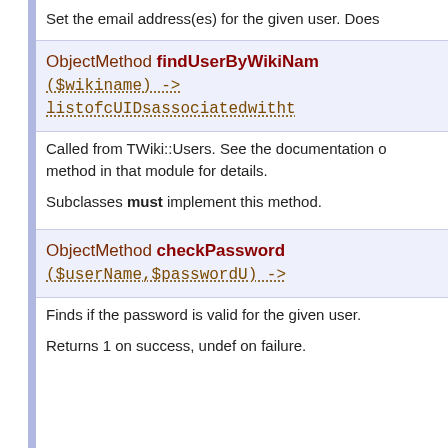Set the email address(es) for the given user. Does
ObjectMethod findUserByWikiName ($wikiname) -> listofcUIDsassociatedwitht
Called from TWiki::Users. See the documentation of method in that module for details.
Subclasses must implement this method.
ObjectMethod checkPassword ($userName,$passwordU) ->
Finds if the password is valid for the given user.
Returns 1 on success, undef on failure.